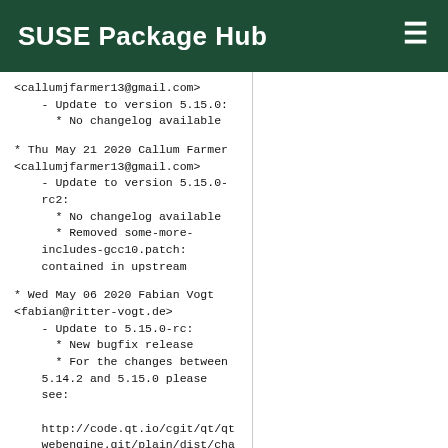SUSE Package Hub
<callumjfarmer13@gmail.com>
- Update to version 5.15.0:
  * No changelog available
* Thu May 21 2020 Callum Farmer <callumjfarmer13@gmail.com>
- Update to version 5.15.0-rc2:
  * No changelog available
  * Removed some-more-includes-gcc10.patch: contained in upstream
* Wed May 06 2020 Fabian Vogt <fabian@ritter-vogt.de>
- Update to 5.15.0-rc:
  * New bugfix release
  * For the changes between 5.14.2 and 5.15.0 please see:

http://code.qt.io/cgit/qt/qtwebengine.git/plain/dist/changes-5.15.0/?h=5.15.0
- Drop patches, now upstream:
  * QTBUG-82186.patch
* Fri Apr 24 2020 Ismail Dönmez <idonmez@suse.com>
- Add icu-v67.patch to fix